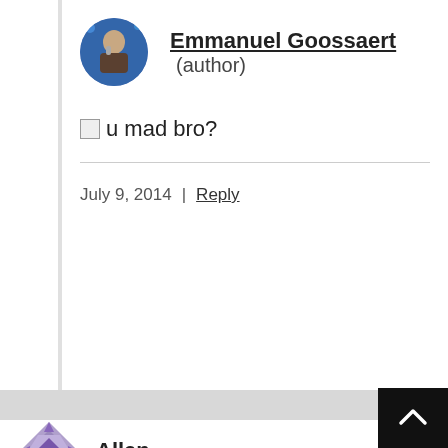Emmanuel Goossaert (author)
u mad bro?
July 9, 2014 | Reply
Allen
Why don't you all who are all asking for